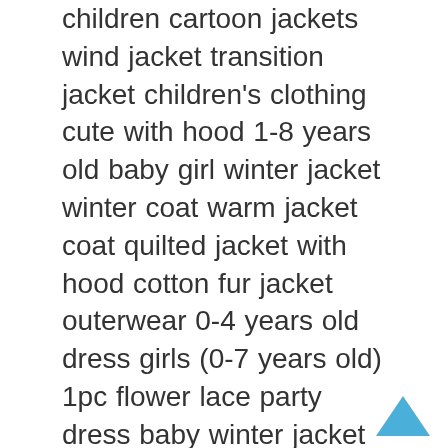children cartoon jackets wind jacket transition jacket children's clothing cute with hood 1-8 years old baby girl winter jacket winter coat warm jacket coat quilted jacket with hood cotton fur jacket outerwear 0-4 years old dress girls (0-7 years old) 1pc flower lace party dress baby winter jacket girls coat boys hooded jacket thick quilted jacket 2-9 years Cotton Blend Trench Coat Model: Übergangsjacke Mädchen Jeansjacke Baby boys clothing set shirt trousers with braces long sleeve checked shirt with bow tie dungarees 3-36 months baby winter jacket boys girls coats with hood autumn winter padded jacket warm quilted jacket 0-4 age jacket baby girl child clothing boys unisex cloak cape coat with hood autumn jacket winter warm poncho 2-8 years boys winter jacket baby quilted jacket with hood wind jacket thick coat 1-5 years old Baby romper winter thick overalls with